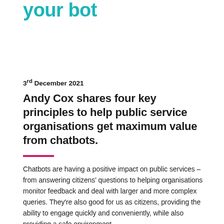your bot
3rd December 2021
Andy Cox shares four key principles to help public service organisations get maximum value from chatbots.
Chatbots are having a positive impact on public services – from answering citizens' questions to helping organisations monitor feedback and deal with larger and more complex queries. They're also good for us as citizens, providing the ability to engage quickly and conveniently, while also providing a safe environment